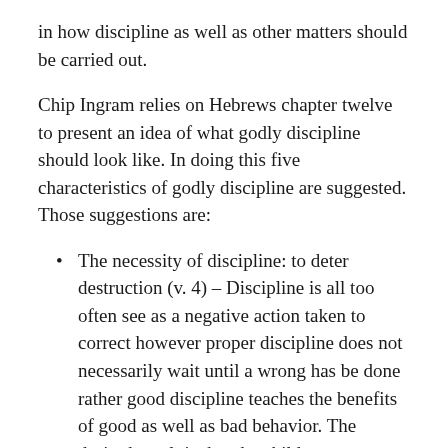in how discipline as well as other matters should be carried out.
Chip Ingram relies on Hebrews chapter twelve to present an idea of what godly discipline should look like. In doing this five characteristics of godly discipline are suggested. Those suggestions are:
The necessity of discipline: to deter destruction (v. 4) – Discipline is all too often see as a negative action taken to correct however proper discipline does not necessarily wait until a wrong has be done rather good discipline teaches the benefits of good as well as bad behavior. The desired result is that the children not turn to the way of destruction rather lean more to what is good and proper.